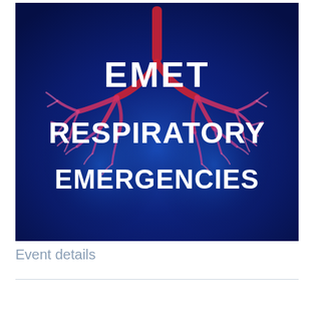[Figure (illustration): 3D medical illustration of human lungs and bronchial tree rendered in pink/red against a deep blue glowing background. White bold text overlaid reads 'EMET RESPIRATORY EMERGENCIES'.]
Event details